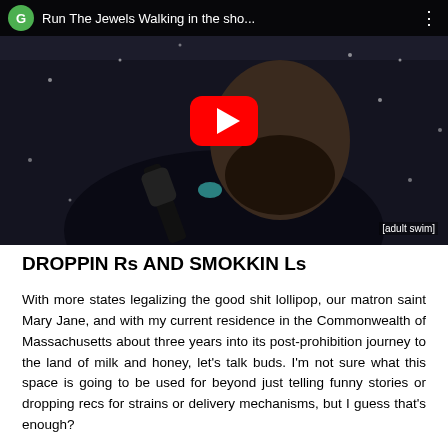[Figure (screenshot): YouTube video thumbnail showing a man holding a microphone close to his mouth in a dark, snowy setting. The video title bar reads 'Run The Jewels  Walking in the sho...' with a YouTube play button overlay in red and white. An [adult swim] badge appears in the bottom right corner.]
DROPPIN Rs AND SMOKKIN Ls
With more states legalizing the good shit lollipop, our matron saint Mary Jane, and with my current residence in the Commonwealth of Massachusetts about three years into its post-prohibition journey to the land of milk and honey, let's talk buds. I'm not sure what this space is going to be used for beyond just telling funny stories or dropping recs for strains or delivery mechanisms, but I guess that's enough?